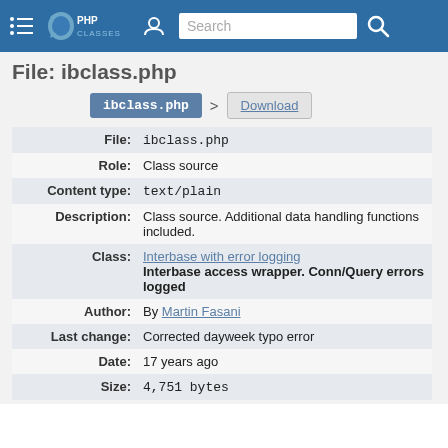PHP Classes — Search
File: ibclass.php
ibclass.php > Download
| Field | Value |
| --- | --- |
| File: | ibclass.php |
| Role: | Class source |
| Content type: | text/plain |
| Description: | Class source. Additional data handling functions included. |
| Class: | Interbase with error logging
Interbase access wrapper. Conn/Query errors logged |
| Author: | By Martin Fasani |
| Last change: | Corrected dayweek typo error |
| Date: | 17 years ago |
| Size: | 4,751 bytes |